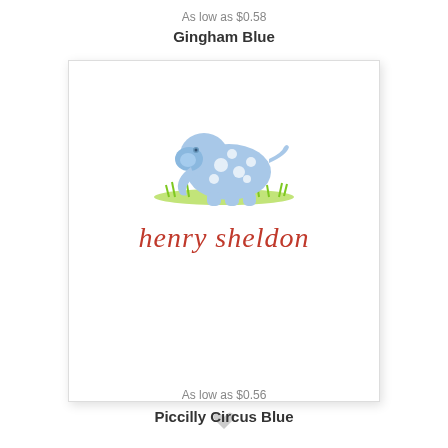As low as $0.58
Gingham Blue
[Figure (illustration): A cute blue polka-dot cartoon elephant standing on green grass, illustrated in a children's stationery style. Below the elephant, the name 'henry sheldon' is printed in red italic serif font.]
[Figure (illustration): A light gray heart icon used as a favorite/wishlist button.]
As low as $0.56
Piccilly Circus Blue